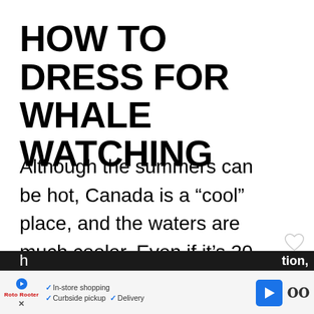HOW TO DRESS FOR WHALE WATCHING
Although the summers can be hot, Canada is a “cool” place, and the waters are much cooler. Even if it’s 20 degrees on land, the temperatures can be dramatically different out at sea. With wind and
[Figure (screenshot): UI overlay elements: heart icon, red share badge with count 150 and share icon, red What's Next card with thumbnail showing whale and text 'WHAT'S NEXT → Tadoussac Whale...']
In-store shopping  Curbside pickup  Delivery